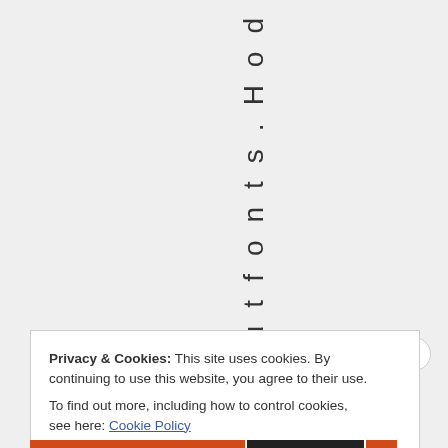u t f o n t s . H o d
Privacy & Cookies: This site uses cookies. By continuing to use this website, you agree to their use.
To find out more, including how to control cookies, see here: Cookie Policy
Close and accept